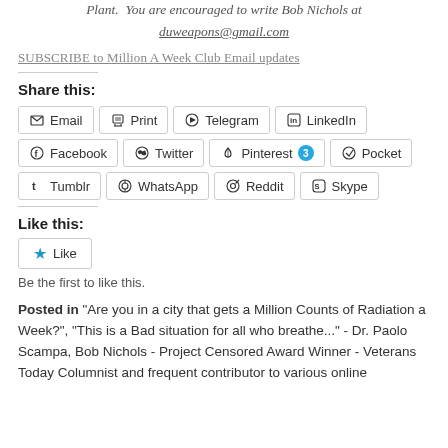Plant. You are encouraged to write Bob Nichols at duweapons@gmail.com
SUBSCRIBE to Million A Week Club Email updates
Share this:
Email | Print | Telegram | LinkedIn | Facebook | Twitter | Pinterest 3 | Pocket | Tumblr | WhatsApp | Reddit | Skype
Like this:
Like
Be the first to like this.
Posted in "Are you in a city that gets a Million Counts of Radiation a Week?", "This is a Bad situation for all who breathe..." - Dr. Paolo Scampa, Bob Nichols - Project Censored Award Winner - Veterans Today Columnist and frequent contributor to various online